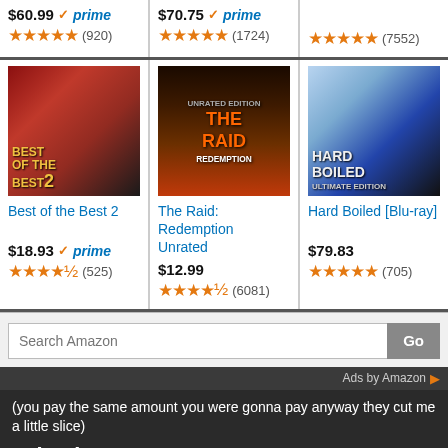$60.99 prime ★★★★★ (920)
$70.75 prime ★★★★★ (1724)
★★★★★ (7552)
[Figure (photo): Best of the Best 2 movie poster]
Best of the Best 2
$18.93 prime ★★★★½ (525)
[Figure (photo): The Raid: Redemption Unrated movie poster]
The Raid: Redemption Unrated
$12.99 ★★★★½ (6081)
[Figure (photo): Hard Boiled Blu-ray movie poster]
Hard Boiled [Blu-ray]
$79.83 ★★★★★ (705)
Search Amazon
Ads by Amazon
(you pay the same amount you were gonna pay anyway they cut me a little slice)
I also have an Amazon UK one:
(I can't get the search box widget to work anymore, so click on MOONWALKER and then search for what you want.)